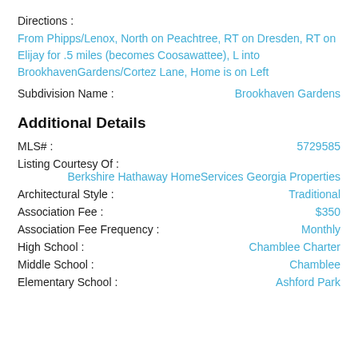Directions :
From Phipps/Lenox, North on Peachtree, RT on Dresden, RT onElijay for .5 miles (becomes Coosawattee), L into BrookhavenGardens/Cortez Lane, Home is on Left
Subdivision Name :    Brookhaven Gardens
Additional Details
MLS# :    5729585
Listing Courtesy Of :    Berkshire Hathaway HomeServices Georgia Properties
Architectural Style :    Traditional
Association Fee :    $350
Association Fee Frequency :    Monthly
High School :    Chamblee Charter
Middle School :    Chamblee
Elementary School :    Ashford Park